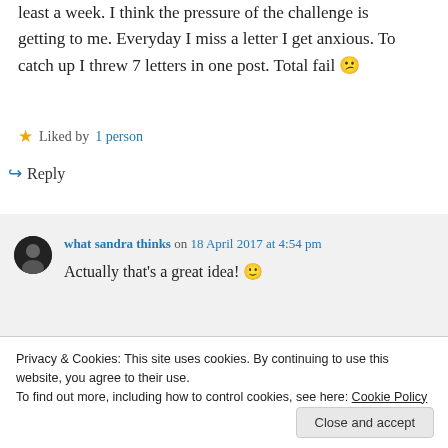least a week. I think the pressure of the challenge is getting to me. Everyday I miss a letter I get anxious. To catch up I threw 7 letters in one post. Total fail 😕
★ Liked by 1 person
↪ Reply
what sandra thinks on 18 April 2017 at 4:54 pm
Actually that's a great idea! 🙂
Privacy & Cookies: This site uses cookies. By continuing to use this website, you agree to their use. To find out more, including how to control cookies, see here: Cookie Policy